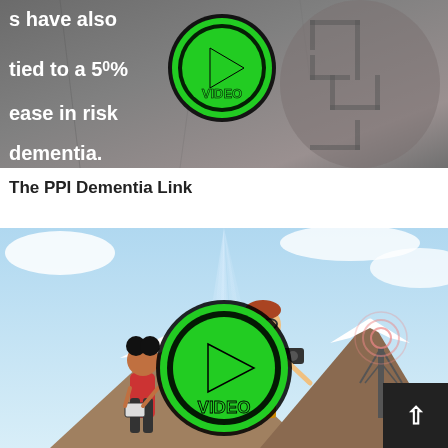[Figure (photo): Dark grey stone/brain maze image with white bold text overlay reading 's have also tied to a 5[0]% ease in risk dementia.' and a green VIDEO play button circle overlay]
The PPI Dementia Link
[Figure (illustration): Animated cartoon-style illustration with light blue sky background showing two characters (adult with glasses and camera, child with pom-pom hairstyle), mountains, a radio tower, and a large green VIDEO play button circle overlay in the center]